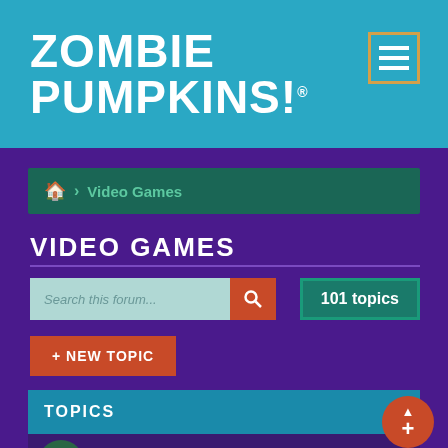ZOMBIE PUMPKINS!
🏠 > Video Games
VIDEO GAMES
Search this forum...
101 topics
+ NEW TOPIC
TOPICS
Last of Us 2
by Beast75 - Sat Oct 17, 2020 11:26 am